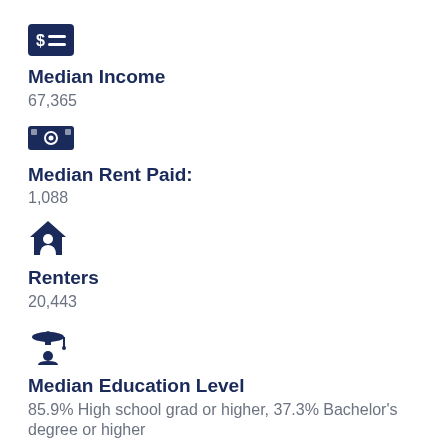[Figure (illustration): Dark navy blue icon of a dollar sign with two horizontal lines (budget/income symbol)]
Median Income
67,365
[Figure (illustration): Dark navy blue icon of a banknote/currency bill with a circle in the center]
Median Rent Paid:
1,088
[Figure (illustration): Dark navy blue icon of a house with a person silhouette (renter/home icon)]
Renters
20,443
[Figure (illustration): Dark navy blue icon of a graduation cap with a person silhouette underneath (education icon)]
Median Education Level
85.9% High school grad or higher, 37.3% Bachelor's degree or higher